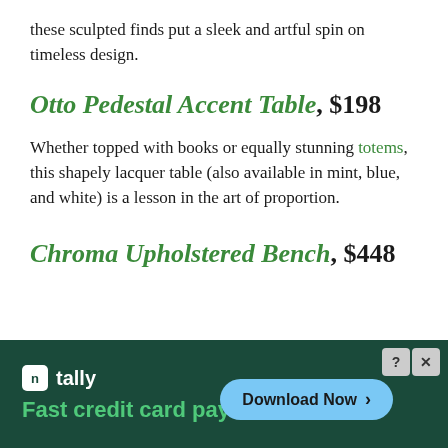these sculpted finds put a sleek and artful spin on timeless design.
Otto Pedestal Accent Table, $198
Whether topped with books or equally stunning totems, this shapely lacquer table (also available in mint, blue, and white) is a lesson in the art of proportion.
Chroma Upholstered Bench, $448
[Figure (screenshot): Advertisement banner for Tally app: dark green background with Tally logo and branding, tagline 'Fast credit payoff' in green, and a blue 'Download Now' button with an arrow on the right. Control buttons (help and close) in the top right corner.]